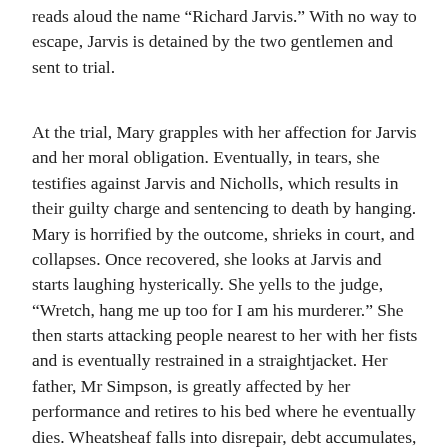reads aloud the name "Richard Jarvis." With no way to escape, Jarvis is detained by the two gentlemen and sent to trial.
At the trial, Mary grapples with her affection for Jarvis and her moral obligation. Eventually, in tears, she testifies against Jarvis and Nicholls, which results in their guilty charge and sentencing to death by hanging. Mary is horrified by the outcome, shrieks in court, and collapses. Once recovered, she looks at Jarvis and starts laughing hysterically. She yells to the judge, "Wretch, hang me up too for I am his murderer." She then starts attacking people nearest to her with her fists and is eventually restrained in a straightjacket. Her father, Mr Simpson, is greatly affected by her performance and retires to his bed where he eventually dies. Wheatsheaf falls into disrepair, debt accumulates, and Mrs. Simpson eventually kills herself. Mary's “disorder” stabilises into a “fixed and gloomy melancholy” (23). She lives in the wild off wild fruits and the charity of others. Her